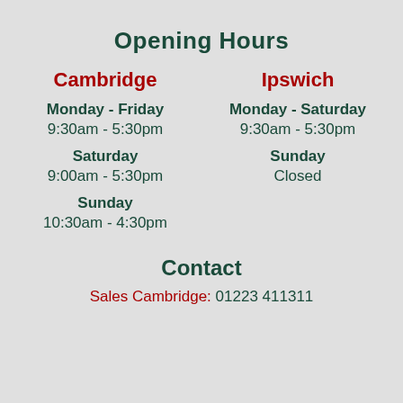Opening Hours
Cambridge
Ipswich
Monday - Friday
9:30am - 5:30pm
Monday - Saturday
9:30am - 5:30pm
Saturday
9:00am - 5:30pm
Sunday
Closed
Sunday
10:30am - 4:30pm
Contact
Sales Cambridge: 01223 411311